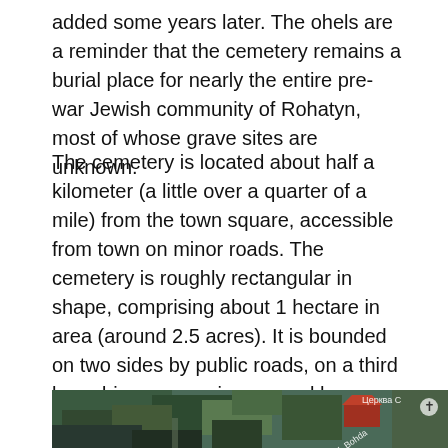added some years later. The ohels are a reminder that the cemetery remains a burial place for nearly the entire pre-war Jewish community of Rohatyn, most of whose grave sites are unknown.
The cemetery is located about half a kilometer (a little over a quarter of a mile) from the town square, accessible from town on minor roads. The cemetery is roughly rectangular in shape, comprising about 1 hectare in area (around 2.5 acres). It is bounded on two sides by public roads, on a third by a driveway serving several houses; the north side is the edge of a steep downward slope to adjacent residential properties. The cemetery is near a high point in the town, and its gentle slope provides a wide panorama of Rohatyn and the river valley it overlooks.
[Figure (photo): Aerial/satellite map view of the cemetery area in Rohatyn, showing overhead view of trees and buildings with street labels in Ukrainian (Vul. Bohda...) and Cyrillic text (Церква С...). A cross icon is visible in the upper right corner of the map.]